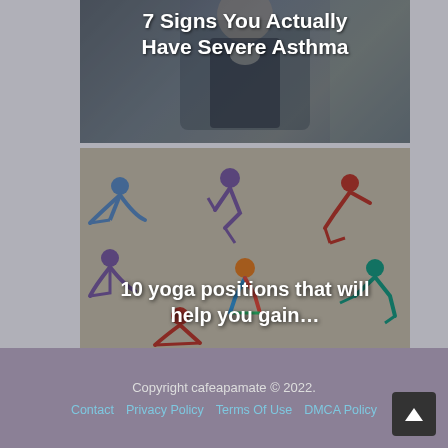[Figure (photo): Photo of a woman in dark jacket with white top, appears to be having breathing difficulty, overlaid with article title text]
7 Signs You Actually Have Severe Asthma
[Figure (illustration): Colorful illustration of multiple yoga positions/figures on a beige/tan background, overlaid with article title text]
10 yoga positions that will help you gain…
Copyright cafeapamate © 2022.
Contact   Privacy Policy   Terms Of Use   DMCA Policy